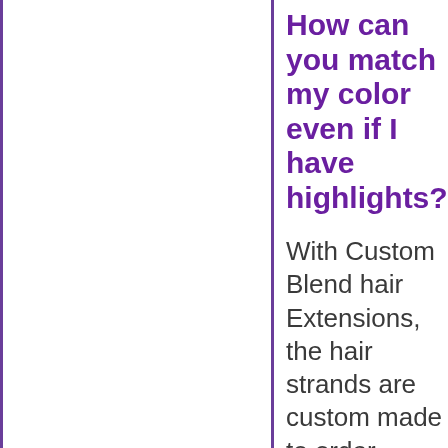How can you match my color even if I have highlights?
With Custom Blend hair Extensions, the hair strands are custom made to order, representing all the colors of your highlights in each strand of hair. This eliminates the chunkiness when alternating different color extensions to